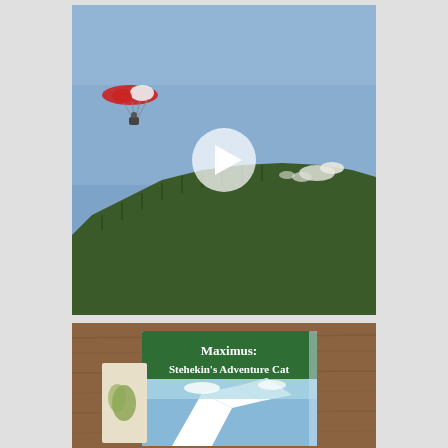[Figure (photo): A paraglider with a red and white parachute gliding over a mountain covered in snow-dusted conifer trees under a clear blue sky. A white play button overlay is visible in the center of the image.]
[Figure (photo): A book display on a wooden surface showing the title 'Maximus: Stehekin's Adventure Cat' on a green banner above a mountain landscape image on the book cover.]